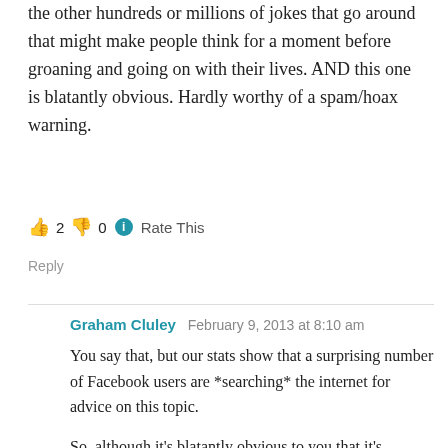the other hundreds or millions of jokes that go around that might make people think for a moment before groaning and going on with their lives. AND this one is blatantly obvious. Hardly worthy of a spam/hoax warning.
👍 2 👎 0 ℹ Rate This
Reply
Graham Cluley  February 9, 2013 at 8:10 am
You say that, but our stats show that a surprising number of Facebook users are *searching* the internet for advice on this topic.
So, although it's blatantly obvious to you that it's nonsense, there's clearly a significant pool of people who might be wondering if it is true or not.
When you have a billion people using one site, there are